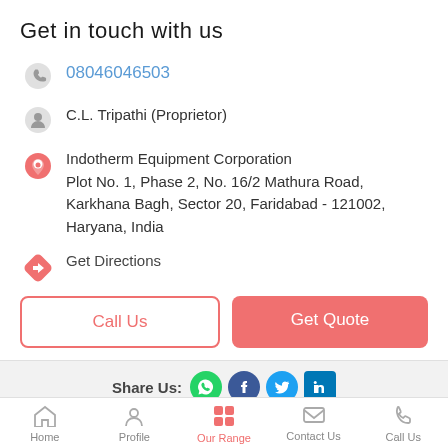Get in touch with us
08046046503
C.L. Tripathi (Proprietor)
Indotherm Equipment Corporation Plot No. 1, Phase 2, No. 16/2 Mathura Road, Karkhana Bagh, Sector 20, Faridabad - 121002, Haryana, India
Get Directions
Call Us
Get Quote
Share Us:
Home  Profile  Our Range  Contact Us  Call Us